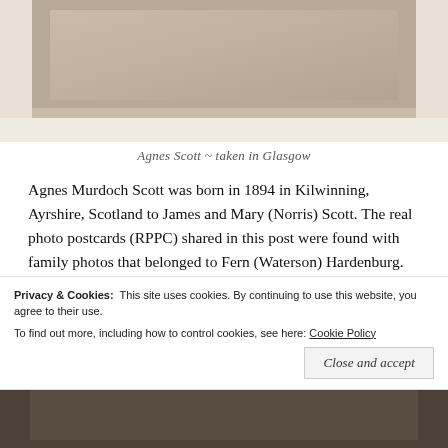[Figure (photo): Old sepia photograph of Agnes Scott, partially cropped, showing bottom portion of the photo with worn edges and a light background.]
Agnes Scott ~ taken in Glasgow
Agnes Murdoch Scott was born in 1894 in Kilwinning, Ayrshire, Scotland to James and Mary (Norris) Scott. The real photo postcards (RPPC) shared in this post were found with family photos that belonged to Fern (Waterson) Hardenburg.  Agnes and Fern are connected by the marriage of their children...
Privacy & Cookies:  This site uses cookies. By continuing to use this website, you agree to their use.
To find out more, including how to control cookies, see here: Cookie Policy
[Figure (photo): Bottom portion of an old photograph, dark and partially visible at the very bottom of the page.]